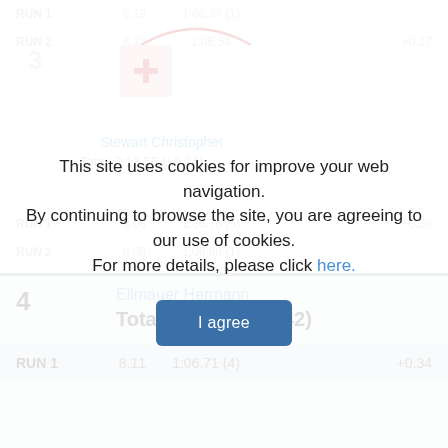RUN 1  8.13  1:06.37 (1)  -
RUN 2  8.12  1:06.54  +0.17
3
Stewart Christopher
Total: 2:13.56 (+0.24)
RUN 1  8.08  1:06.76 (5)  +0.39
RUN 2  8.08  1:06.80 (1)  -
This site uses cookies for improve your web navigation. By continuing to browse the site, you are agreeing to our use of cookies. For more details, please click here.
I agree
4
Ellmauer Hermann
Total: 2:13.74 (+0.42)
RUN 1  8.11  1:06.71 (4)  +0.34